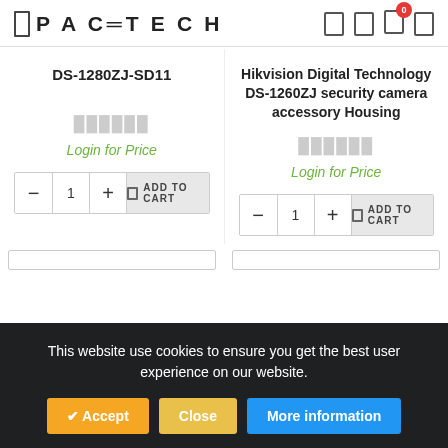PACETECH
DS-1280ZJ-SD11
Hikvision Digital Technology DS-1260ZJ security camera accessory Housing
Login for Price
Login for Price
This website use cookies to ensure you get the best user experience on our website.